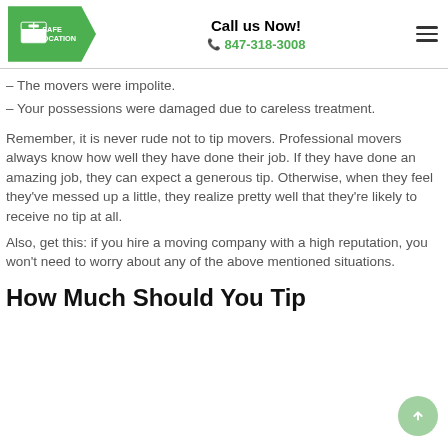Call us Now! 847-318-3008
– The movers were impolite.
– Your possessions were damaged due to careless treatment.
Remember, it is never rude not to tip movers. Professional movers always know how well they have done their job. If they have done an amazing job, they can expect a generous tip. Otherwise, when they feel they've messed up a little, they realize pretty well that they're likely to receive no tip at all.
Also, get this: if you hire a moving company with a high reputation, you won't need to worry about any of the above mentioned situations.
How Much Should You Tip Movers?